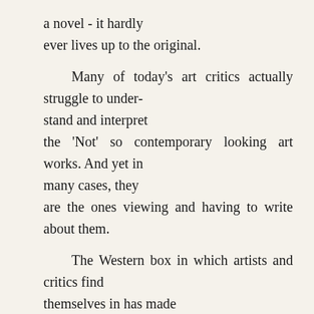a novel - it hardly ever lives up to the original.

Many of today's art critics actually struggle to understand and interpret the 'Not' so contemporary looking art works. And yet in many cases, they are the ones viewing and having to write about them.

The Western box in which artists and critics find themselves in has made them tend to focus mainly on works that rebel against political totalitarianism, even if the quality of the pieces is not particularly much to talk about. As a result, a lot of artists have lost their ability